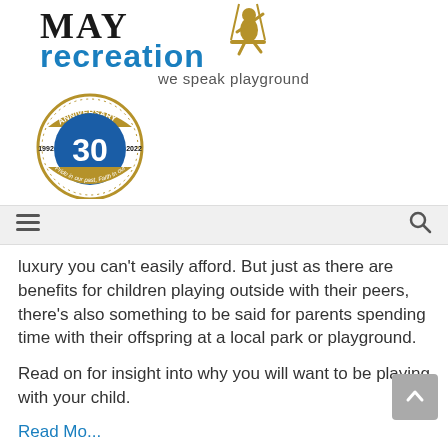[Figure (logo): MAY recreation logo with swinging child figure, 30th anniversary badge (1992-2022), and tagline 'we speak playground']
[Figure (other): Navigation bar with hamburger menu icon on left and search icon on right]
luxury you can't easily afford. But just as there are benefits for children playing outside with their peers, there's also something to be said for parents spending time with their offspring at a local park or playground.
Read on for insight into why you will want to be playing with your child.
Read Mo...